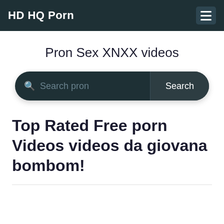HD HQ Porn
Pron Sex XNXX videos
[Figure (screenshot): Search bar with placeholder text 'Search pron' and a Search button, dark teal rounded rectangle style]
Top Rated Free porn Videos videos da giovana bombom!